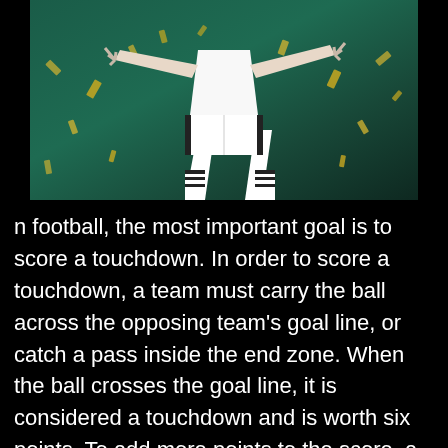[Figure (photo): A soccer/football player wearing white uniform with black stripes on shorts and socks, arms outstretched, photographed from below against a teal/dark green background with gold confetti pieces flying around.]
n football, the most important goal is to score a touchdown. In order to score a touchdown, a team must carry the ball across the opposing team's goal line, or catch a pass inside the end zone. When the ball crosses the goal line, it is considered a touchdown and is worth six points. To add more points to the score, a team may attempt to convert a touchdown into an extra point. A team can attempt extra points